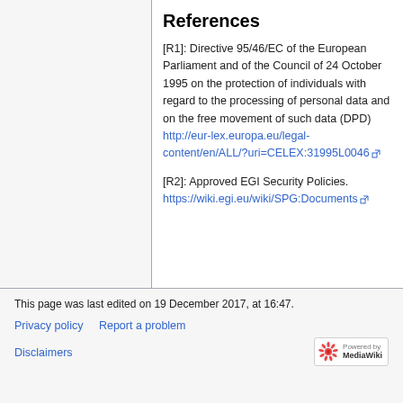References
[R1]: Directive 95/46/EC of the European Parliament and of the Council of 24 October 1995 on the protection of individuals with regard to the processing of personal data and on the free movement of such data (DPD) http://eur-lex.europa.eu/legal-content/en/ALL/?uri=CELEX:31995L0046
[R2]: Approved EGI Security Policies. https://wiki.egi.eu/wiki/SPG:Documents
This page was last edited on 19 December 2017, at 16:47.
Privacy policy  Report a problem  Disclaimers